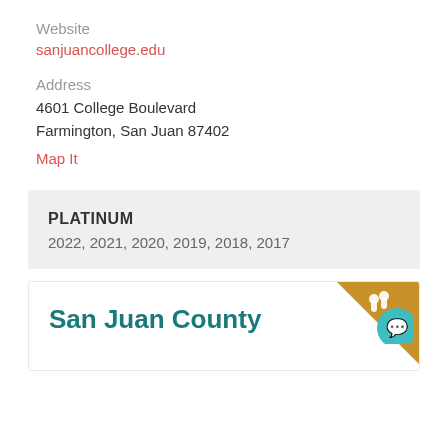Website
sanjuancollege.edu
Address
4601 College Boulevard
Farmington, San Juan 87402
Map It
PLATINUM
2022, 2021, 2020, 2019, 2018, 2017
San Juan County